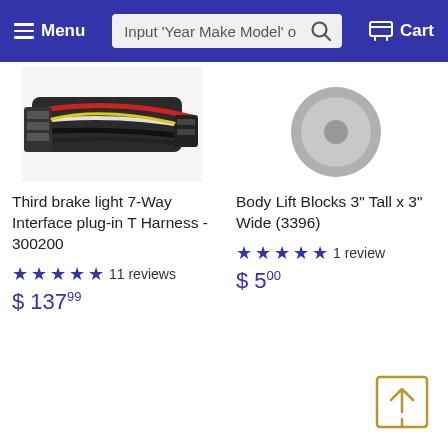Menu | Input 'Year Make Model' o [search] | Cart
[Figure (photo): Partial view of a wiring harness with red, black and white wires and connectors]
Third brake light 7-Way Interface plug-in T Harness - 300200
★★★★★ 11 reviews
$ 137.99
[Figure (photo): Partial view of a circular Body Lift Block component]
Body Lift Blocks 3" Tall x 3" Wide (3396)
★★★★★ 1 review
$ 5.00
[Figure (other): Scroll-to-top button icon: square with upward arrow]